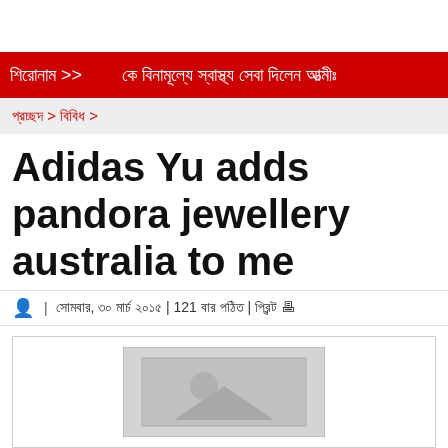শিরোনাম >> কে বিনামূল্যে স্বাস্থ্য সেবা দিলেন আত্মীঃ
প্রচ্ছদ > বিবিধ >
Adidas Yu adds pandora jewellery australia to me
| সোমবার, ৩০ মার্চ ২০১৫ | 121 বার পঠিত | প্রিন্ট
[Figure (photo): Image placeholder with grey background showing a generic image icon (circle and triangle)]